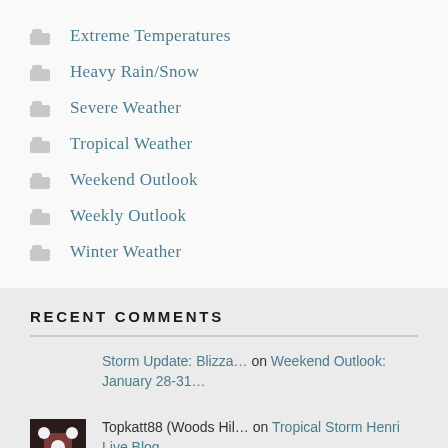Extreme Temperatures
Heavy Rain/Snow
Severe Weather
Tropical Weather
Weekend Outlook
Weekly Outlook
Winter Weather
RECENT COMMENTS
Storm Update: Blizza… on Weekend Outlook: January 28-31…
Topkatt88 (Woods Hil… on Tropical Storm Henri Live Blog
Nguyễn Thị Phương Tr… on Weekend